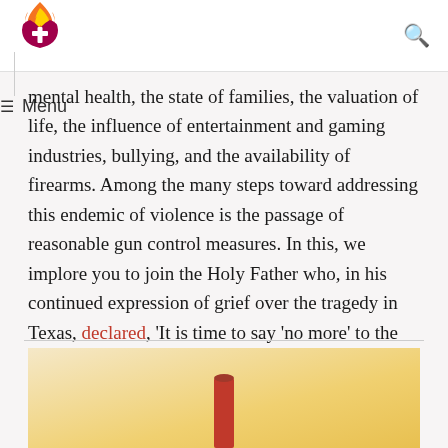Menu
mental health, the state of families, the valuation of life, the influence of entertainment and gaming industries, bullying, and the availability of firearms. Among the many steps toward addressing this endemic of violence is the passage of reasonable gun control measures. In this, we implore you to join the Holy Father who, in his continued expression of grief over the tragedy in Texas, declared, 'It is time to say 'no more' to the indiscriminate trafficking of weapons.'"
Read more
[Figure (illustration): Partial view of a candle or religious illustration at the bottom of the page against a warm golden background]